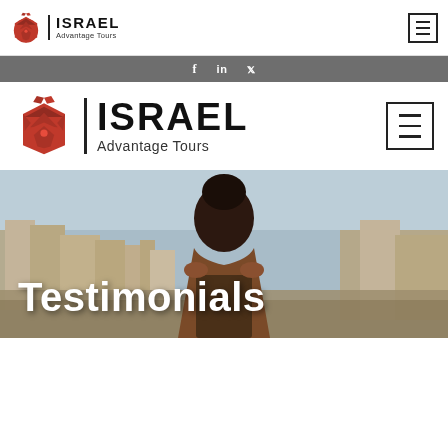[Figure (logo): Israel Advantage Tours logo (small) — red geometric pomegranate icon with ISRAEL Advantage Tours text]
[Figure (logo): Hamburger menu icon (top right, small)]
[Figure (infographic): Social media bar with Facebook, LinkedIn, and Twitter icons on dark grey background]
[Figure (logo): Israel Advantage Tours logo (large) — red geometric pomegranate icon with large ISRAEL Advantage Tours text]
[Figure (logo): Hamburger menu icon (middle right, large)]
[Figure (photo): Hero banner photo: person viewed from behind looking over ancient city of Jerusalem rooftops, sky in background]
Testimonials